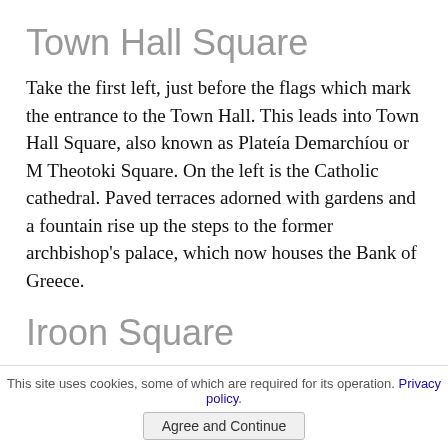Town Hall Square
Take the first left, just before the flags which mark the entrance to the Town Hall. This leads into Town Hall Square, also known as Plateía Demarchíou or M Theotoki Square. On the left is the Catholic cathedral. Paved terraces adorned with gardens and a fountain rise up the steps to the former archbishop’s palace, which now houses the Bank of Greece.
Iroon Square
Leave the square on the other side of the Town Hall,
This site uses cookies, some of which are required for its operation. Privacy policy